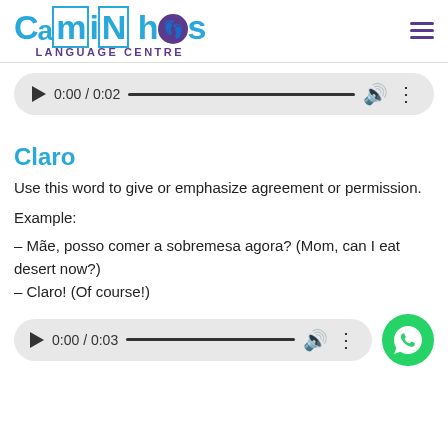CamiNhos LANGUAGE CENTRE
[Figure (screenshot): Audio player showing 0:00 / 0:02 with play button, progress bar, volume and options icons]
Claro
Use this word to give or emphasize agreement or permission.
Example:
– Mãe, posso comer a sobremesa agora? (Mom, can I eat desert now?)
– Claro! (Of course!)
[Figure (screenshot): Audio player showing 0:00 / 0:03 with play button, progress bar, volume and options icons]